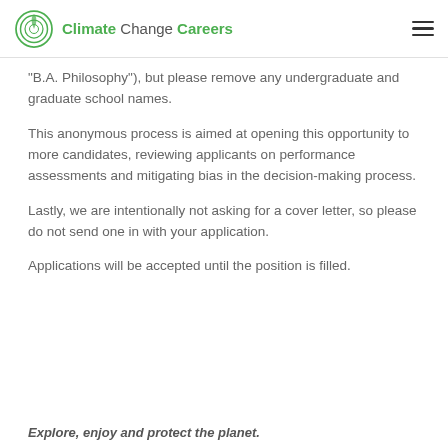Climate Change Careers
"B.A. Philosophy"), but please remove any undergraduate and graduate school names.
This anonymous process is aimed at opening this opportunity to more candidates, reviewing applicants on performance assessments and mitigating bias in the decision-making process.
Lastly, we are intentionally not asking for a cover letter, so please do not send one in with your application.
Applications will be accepted until the position is filled.
Explore, enjoy and protect the planet.